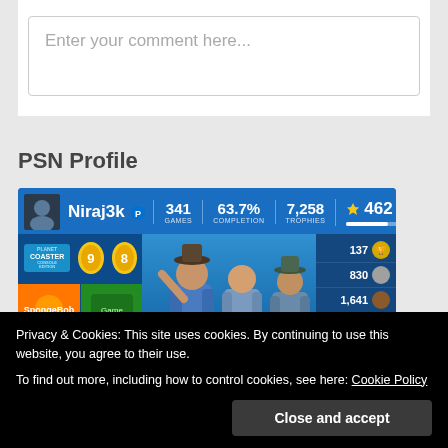[Figure (screenshot): Comment input text box with placeholder text 'Enter your comment here...']
PSN Profile
[Figure (screenshot): PSN Profile card for user Niraj3k showing 341 Games, 63.7% Completion, 7,258 Trophies, 462 total. Trophy breakdown: 137 gold, 830 silver, 1,641 bronze, 4,650 other. Level 4,150, XP 32,990. 234,780 Points. Game thumbnails for Planet Coaster and others shown with character artwork.]
Privacy & Cookies: This site uses cookies. By continuing to use this website, you agree to their use.
To find out more, including how to control cookies, see here: Cookie Policy
Close and accept